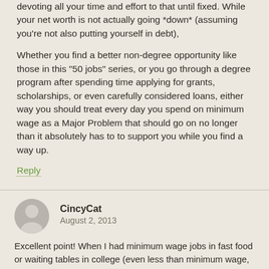devoting all your time and effort to that until fixed. While your net worth is not actually going *down* (assuming you're not also putting yourself in debt),

Whether you find a better non-degree opportunity like those in this "50 jobs" series, or you go through a degree program after spending time applying for grants, scholarships, or even carefully considered loans, either way you should treat every day you spend on minimum wage as a Major Problem that should go on no longer than it absolutely has to to support you while you find a way up.
Reply
CincyCat
August 2, 2013
Excellent point! When I had minimum wage jobs in fast food or waiting tables in college (even less than minimum wage, really), I never thought of them as "careers". While there were co-workers of mine who had been waiting tables for decades, and truly loved it, most of the time, they had another wage earner in the household. For me, I always thought of the minimum wage jobs as *temporary* while I worked